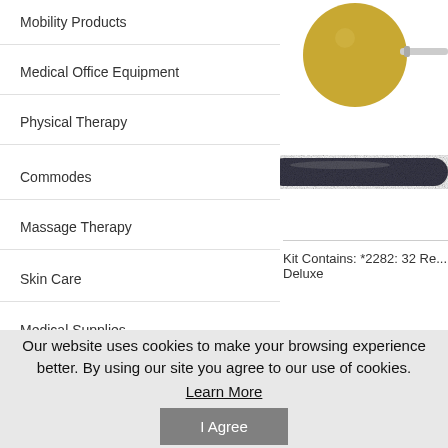Mobility Products
Medical Office Equipment
Physical Therapy
Commodes
Massage Therapy
Skin Care
Medical Supplies
Exercisers
[Figure (photo): Yellow ball massager on a stick and a dark textured cylindrical massage tool]
Kit Contains: *2282: 32 Re... Deluxe
Our website uses cookies to make your browsing experience better. By using our site you agree to our use of cookies. Learn More I Agree